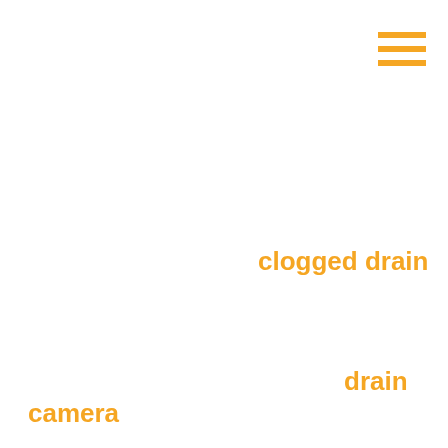[Figure (other): Three horizontal orange lines forming a menu/hamburger icon in the top-right corner]
clogged drain
drain
camera